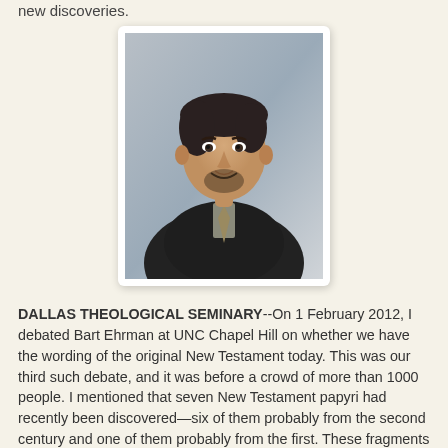new discoveries.
[Figure (photo): Professional headshot of a middle-aged man with dark hair, beard, wearing a dark jacket and patterned tie, against a grey background.]
DALLAS THEOLOGICAL SEMINARY--On 1 February 2012, I debated Bart Ehrman at UNC Chapel Hill on whether we have the wording of the original New Testament today. This was our third such debate, and it was before a crowd of more than 1000 people. I mentioned that seven New Testament papyri had recently been discovered—six of them probably from the second century and one of them probably from the first. These fragments will be published in